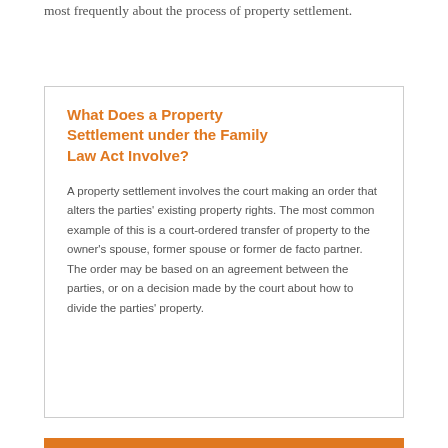most frequently about the process of property settlement.
What Does a Property Settlement under the Family Law Act Involve?
A property settlement involves the court making an order that alters the parties' existing property rights. The most common example of this is a court-ordered transfer of property to the owner's spouse, former spouse or former de facto partner. The order may be based on an agreement between the parties, or on a decision made by the court about how to divide the parties' property.